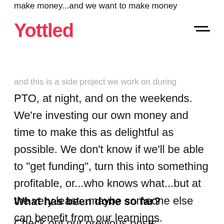make money...and we want to make money
Yottled
and this is a side project we work on during PTO, at night, and on the weekends. We’re investing our own money and time to make this as delightful as possible. We don’t know if we’ll be able to “get funding”, turn this into something profitable, or...who knows what...but at the very least...maybe someone else can benefit from our learnings.
What has been done so far?
Check out our previous posts: